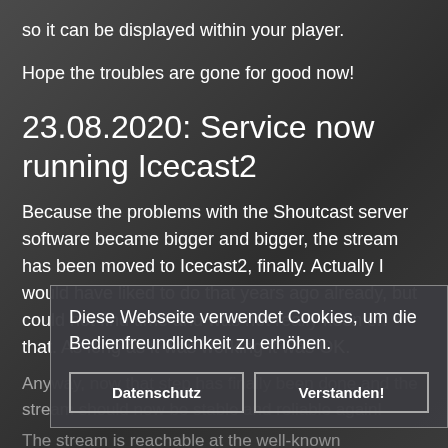so it can be displayed within your player.
Hope the troubles are gone for good now!
23.08.2020: Service now running Icecast2
Because the problems with the Shoutcast server software became bigger and bigger, the stream has been moved to Icecast2, finally. Actually I would have liked to do that years ago already, but could not find time and was not really keen on that. As long as it was working it was OK.
Anyway, now that step has finally been done and the stream should now be stable and reliable again!
The stream is reachable at the well-known addresses, and as a nice goodie, there is a new lossless FLAC encoded stream! Enjoy the not recoded quality. These are the original files directly from disk.
Diese Webseite verwendet Cookies, um die Bedienfreundlichkeit zu erhöhen.
Datenschutz
Verstanden!